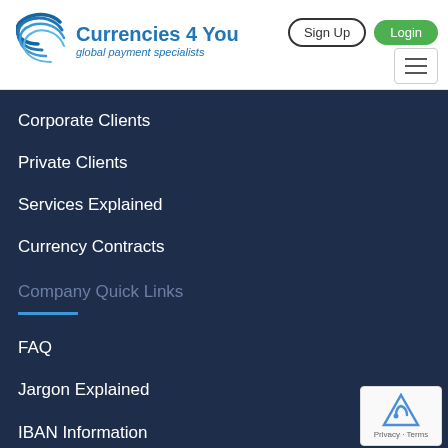[Figure (logo): Currencies 4 You logo with blue concentric swoosh arcs and text 'Currencies 4 You global payment specialists']
Sign Up
Login
Corporate Clients
Private Clients
Services Explained
Currency Contracts
Company Quick Links
FAQ
Jargon Explained
IBAN Information
Security